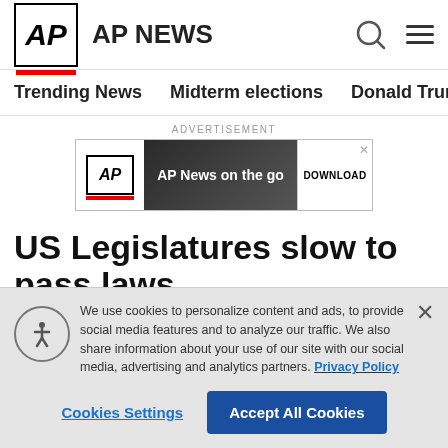AP NEWS
Trending News   Midterm elections   Donald Trump   Russia-Ukr
ADVERTISEMENT
[Figure (screenshot): AP News app advertisement banner with AP logo, 'AP News on the go' text, and DOWNLOAD button]
US Legislatures slow to pass laws limiting…
We use cookies to personalize content and ads, to provide social media features and to analyze our traffic. We also share information about your use of our site with our social media, advertising and analytics partners. Privacy Policy
Cookies Settings   Accept All Cookies